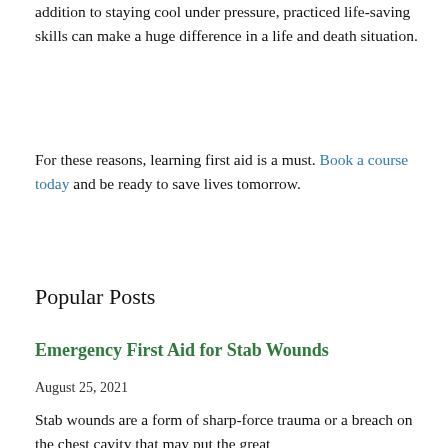addition to staying cool under pressure, practiced life-saving skills can make a huge difference in a life and death situation.
For these reasons, learning first aid is a must. Book a course today and be ready to save lives tomorrow.
Popular Posts
Emergency First Aid for Stab Wounds
August 25, 2021
Stab wounds are a form of sharp-force trauma or a breach on the chest cavity that may put the great